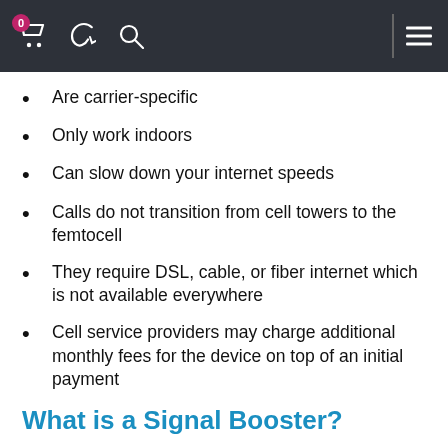Navigation bar with cart (0), phone, search icons and hamburger menu
Are carrier-specific
Only work indoors
Can slow down your internet speeds
Calls do not transition from cell towers to the femtocell
They require DSL, cable, or fiber internet which is not available everywhere
Cell service providers may charge additional monthly fees for the device on top of an initial payment
What is a Signal Booster?